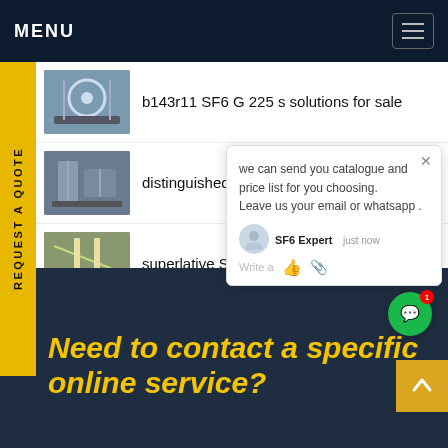MENU
REQUEST A QUOTE
b143r11 SF6 G 225 s solutions for sale
distinguished Service SF6 est cost
superlative SF6 switchgear analyzer
we can send you catalogue and price list for you choosing. Leave us your email or whatsapp .
SF6 Expert   just now
Write a
Need to contact a specific online service?